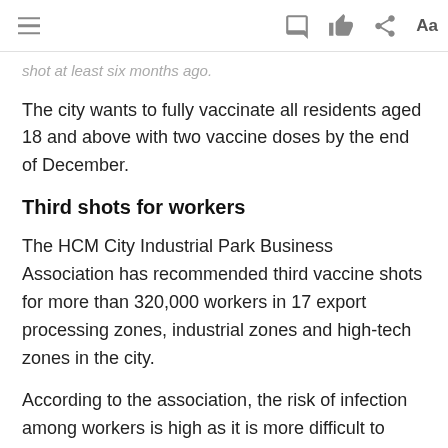≡  [comment icon] [like icon] [share icon]  Aa
shot at least six months ago.
The city wants to fully vaccinate all residents aged 18 and above with two vaccine doses by the end of December.
Third shots for workers
The HCM City Industrial Park Business Association has recommended third vaccine shots for more than 320,000 workers in 17 export processing zones, industrial zones and high-tech zones in the city.
According to the association, the risk of infection among workers is high as it is more difficult to ensure social distancing at factories.